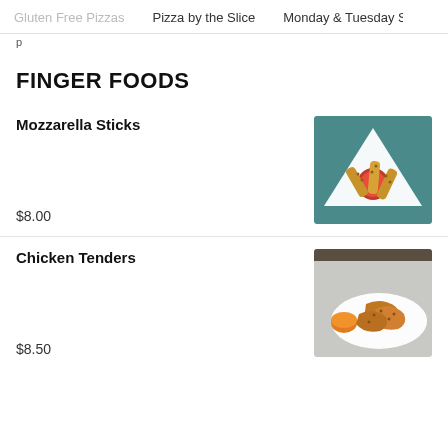Gluten Free Pizzas   Pizza by the Slice   Monday & Tuesday Spe
p
FINGER FOODS
Mozzarella Sticks
$8.00
[Figure (photo): Mozzarella sticks arranged on a white triangular plate with marinara dipping sauce, viewed from above on a teal background]
Chicken Tenders
$8.50
[Figure (photo): Chicken tenders on a white oval plate with orange dipping sauce on a light grey background]